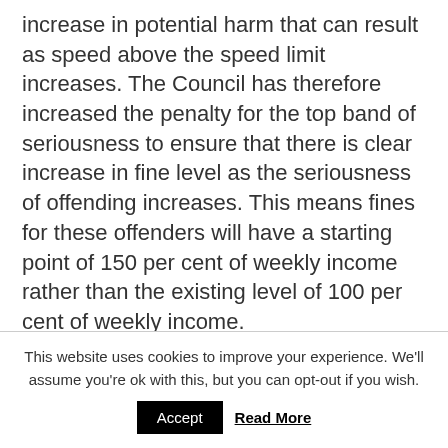increase in potential harm that can result as speed above the speed limit increases. The Council has therefore increased the penalty for the top band of seriousness to ensure that there is clear increase in fine level as the seriousness of offending increases. This means fines for these offenders will have a starting point of 150 per cent of weekly income rather than the existing level of 100 per cent of weekly income.
In relation to animal cruelty, the guideline aims to ensure that the most serious cases lead to prison sentences, and that these sentences are of an appropriate length. For the first time,
This website uses cookies to improve your experience. We'll assume you're ok with this, but you can opt-out if you wish.
Accept  Read More